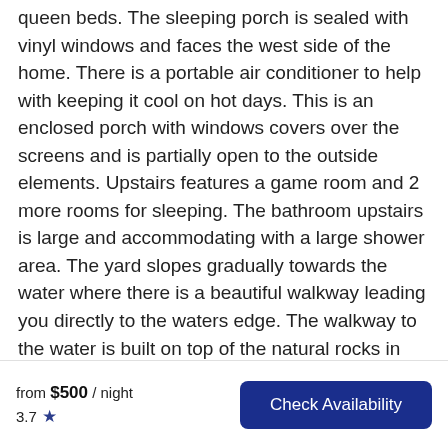queen beds. The sleeping porch is sealed with vinyl windows and faces the west side of the home. There is a portable air conditioner to help with keeping it cool on hot days. This is an enclosed porch with windows covers over the screens and is partially open to the outside elements. Upstairs features a game room and 2 more rooms for sleeping. The bathroom upstairs is large and accommodating with a large shower area. The yard slopes gradually towards the water where there is a beautiful walkway leading you directly to the waters edge. The walkway to the water is built on top of the natural rocks in the side of the hill, coupled with a great deck for sitting and watching the sunsets. At the bottom of the
from $500 / night
3.7 ★  Check Availability